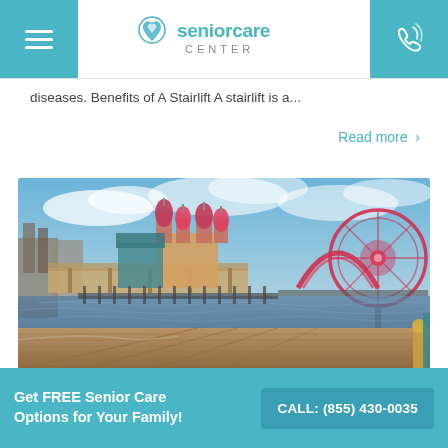Senior Care Center
diseases. Benefits of A Stairlift A stairlift is a...
Read more >
[Figure (photo): Panoramic photo of an amusement park with a ferris wheel, roller coaster, and castle-like structures reflecting in water, viewed from a wooden boardwalk.]
Get FREE Senior Care Options for Your Family!
CALL: (855) 430-0035